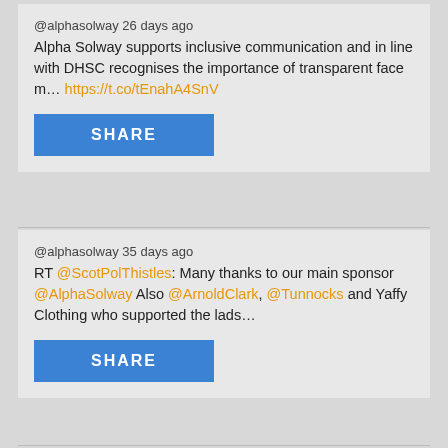@alphasolway 26 days ago
Alpha Solway supports inclusive communication and in line with DHSC recognises the importance of transparent face m... https://t.co/tEnahA4SnV
SHARE
@alphasolway 35 days ago
RT @ScotPolThistles: Many thanks to our main sponsor @AlphaSolway Also @ArnoldClark, @Tunnocks and Yaffy Clothing who supported the lads...
SHARE